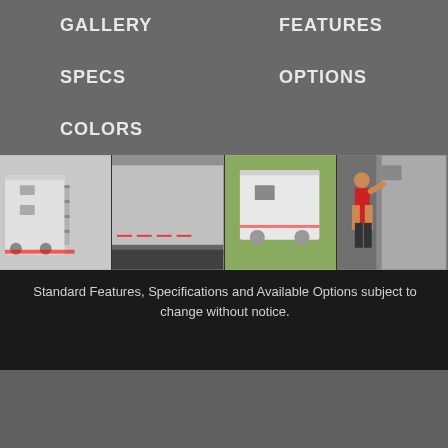GALLERY
FEATURES
SPECS
OPTIONS
COLORS
[Figure (photo): Four photos of a horse trailer showing exterior side views, rear, and a woman opening the trailer door]
Standard Features, Specifications and Available Options subject to change without notice.